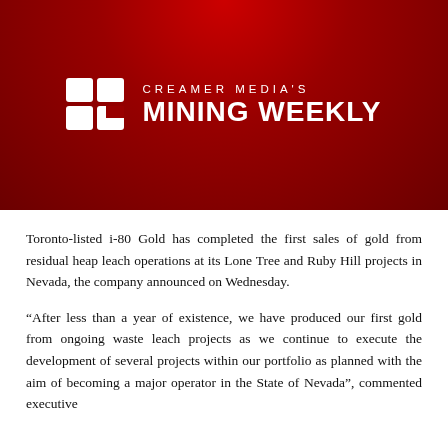[Figure (logo): Creamer Media's Mining Weekly logo — white grid icon on red background with text CREAMER MEDIA'S MINING WEEKLY]
Toronto-listed i-80 Gold has completed the first sales of gold from residual heap leach operations at its Lone Tree and Ruby Hill projects in Nevada, the company announced on Wednesday.
“After less than a year of existence, we have produced our first gold from ongoing waste leach projects as we continue to execute the development of several projects within our portfolio as planned with the aim of becoming a major operator in the State of Nevada”, commented executive